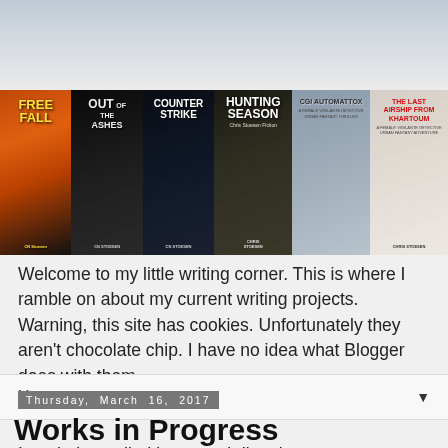[Figure (illustration): Banner showing six book covers by CN Stoesen / Chris Stoesen: Free Fall, Out of the Ashes, Counter Strike, Hunting Season (Chris Stoesen Fiction), CGI Automattox, The Last Airship from Khartoum]
Welcome to my little writing corner. This is where I ramble on about my current writing projects. Warning, this site has cookies. Unfortunately they aren't chocolate chip. I have no idea what Blogger does with them.
Home ▼
Thursday, March 16, 2017
Works in Progress
I am being pulled in several directions at once. Currently I